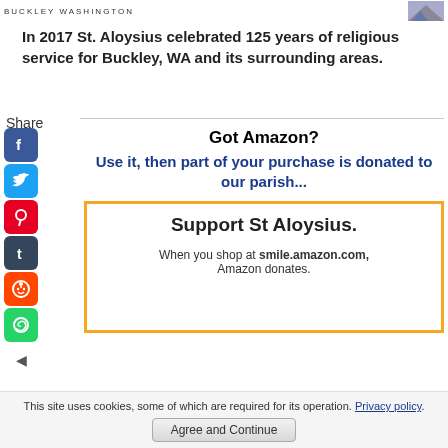BUCKLEY WASHINGTON
In 2017 St. Aloysius celebrated 125 years of religious service for Buckley, WA and its surrounding areas.
Share
[Figure (other): Social media sharing icons: Facebook, Twitter, Pinterest, Tumblr, Reddit, WhatsApp]
Got Amazon?
Use it, then part of your purchase is donated to our parish...
[Figure (other): Amazon Smile promotional card with orange border. Text reads: Support St Aloysius. When you shop at smile.amazon.com, Amazon donates.]
This site uses cookies, some of which are required for its operation. Privacy policy. Agree and Continue